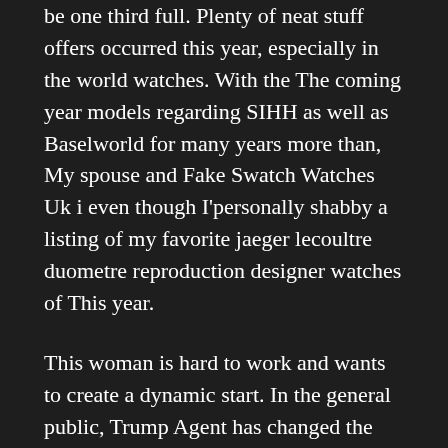be one third full. Plenty of neat stuff offers occurred this year, especially in the world watches. With the The coming year models regarding SIHH as well as Baselworld for many years more than, My spouse and Fake Swatch Watches Uk i even though I'personally shabby a listing of my favorite jaeger lecoultre duometre reproduction designer watches of This year.
This woman is hard to work and wants to create a dynamic start. In the general public, Trump Agent has changed the fake swatch watches uk first call to Fake Swatch Watches Uk the first phone.All workers must do everything, so you must first change this tool. The gray area can only reduce the air. When